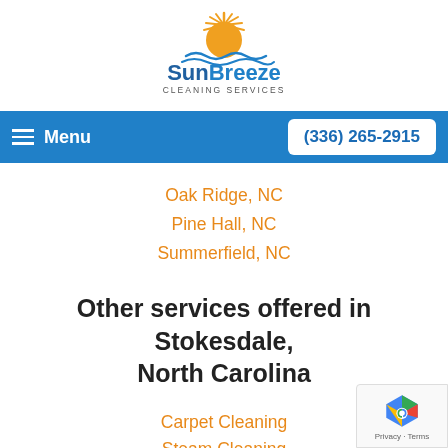[Figure (logo): SunBreeze Cleaning Services logo — orange sun with rays over blue wave lines, with text 'SunBreeze' in blue and 'CLEANING SERVICES' below]
Menu   (336) 265-2915
Oak Ridge, NC
Pine Hall, NC
Summerfield, NC
Other services offered in Stokesdale, North Carolina
Carpet Cleaning
Steam Cleaning